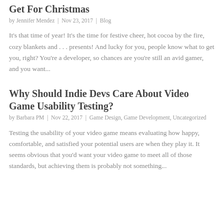Get For Christmas
by Jennifer Mendez | Nov 23, 2017 | Blog
It's that time of year! It's the time for festive cheer, hot cocoa by the fire, cozy blankets and . . . presents! And lucky for you, people know what to get you, right? You're a developer, so chances are you're still an avid gamer, and you want...
Why Should Indie Devs Care About Video Game Usability Testing?
by Barbara PM | Nov 22, 2017 | Game Design, Game Development, Uncategorized
Testing the usability of your video game means evaluating how happy, comfortable, and satisfied your potential users are when they play it. It seems obvious that you'd want your video game to meet all of those standards, but achieving them is probably not something...